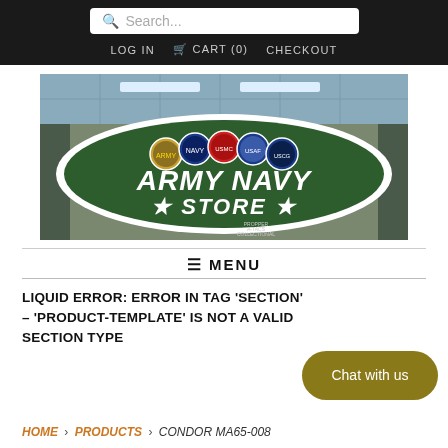Search... | LOG IN | CART (0) | CHECKOUT
[Figure (photo): Army Navy Store sign — green oval with military branch seals and white stencil lettering reading 'ARMY NAVY STORE' with stars]
≡ MENU
LIQUID ERROR: ERROR IN TAG 'SECTION' – 'PRODUCT-TEMPLATE' IS NOT A VALID SECTION TYPE
Chat with us
HOME › PRODUCTS › CONDOR MA65-008